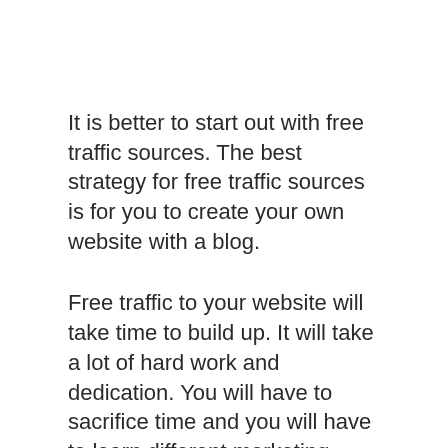It is better to start out with free traffic sources. The best strategy for free traffic sources is for you to create your own website with a blog.
Free traffic to your website will take time to build up. It will take a lot of hard work and dedication. You will have to sacrifice time and you will have to learn different marketing skills.
The major downside to building a blog and getting enough traffic for you to make a lot of money will take time.